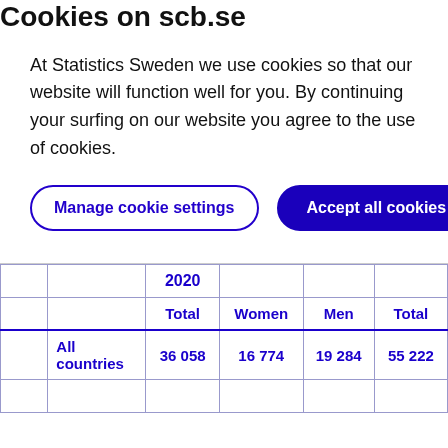Cookies on scb.se
At Statistics Sweden we use cookies so that our website will function well for you. By continuing your surfing on our website you agree to the use of cookies.
Manage cookie settings | Accept all cookies
|  |  | 2020 |  |  |  |
| --- | --- | --- | --- | --- | --- |
|  |  | Total | Women | Men | Total |
|  | All countries | 36 058 | 16 774 | 19 284 | 55 222 |